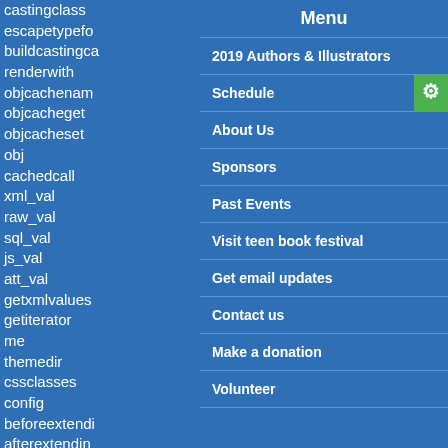castingclass
escapetypefo
buildcastingca
renderwith
objcachenam
objcacheget
objcacheset
obj
cachedcall
xml_val
raw_val
sql_val
js_val
att_val
getxmlvalues
getiterator
me
themedir
cssclasses
config
beforeextendi
afterextendin
create
singleton
create_from_
parse_class
Menu
2019 Authors & Illustrators
Schedule
About Us
Sponsors
Past Events
Visit teen book festival
Get email updates
Contact us
Make a donation
Volunteer